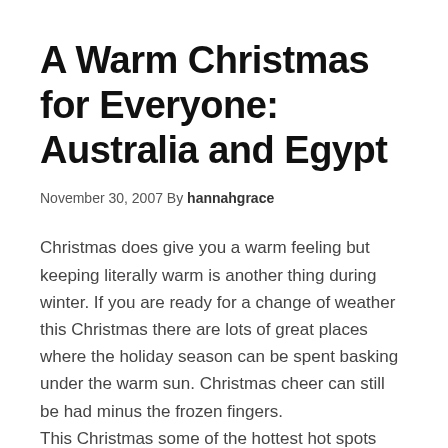A Warm Christmas for Everyone: Australia and Egypt
November 30, 2007 By hannahgrace
Christmas does give you a warm feeling but keeping literally warm is another thing during winter. If you are ready for a change of weather this Christmas there are lots of great places where the holiday season can be spent basking under the warm sun. Christmas cheer can still be had minus the frozen fingers.
This Christmas some of the hottest hot spots you can visit include: